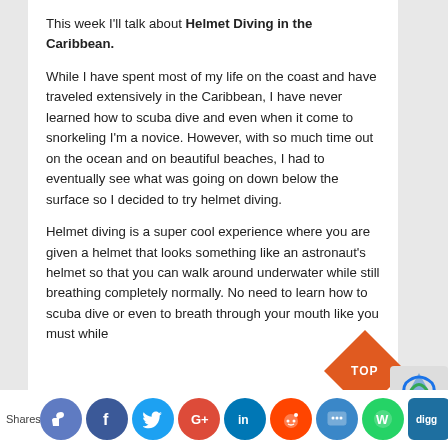This week I'll talk about Helmet Diving in the Caribbean.
While I have spent most of my life on the coast and have traveled extensively in the Caribbean, I have never learned how to scuba dive and even when it come to snorkeling I'm a novice. However, with so much time out on the ocean and on beautiful beaches, I had to eventually see what was going on down below the surface so I decided to try helmet diving.
Helmet diving is a super cool experience where you are given a helmet that looks something like an astronaut's helmet so that you can walk around underwater while still breathing completely normally. No need to learn how to scuba dive or even to breath through your mouth like you must while snorkeling. You just go out on a ...